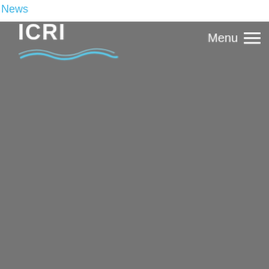News
[Figure (logo): ICRI logo with wave graphic in white and light blue on grey background, with Menu navigation and hamburger icon on the right]
[Figure (photo): Large grey background area filling the lower portion of the page]